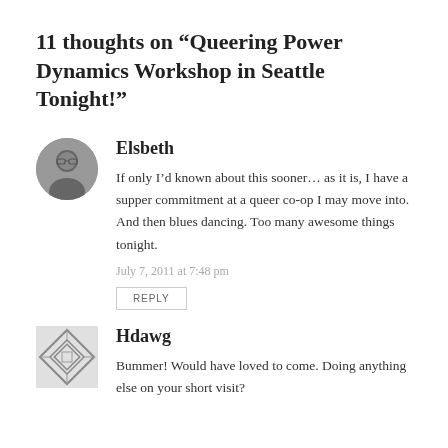11 thoughts on “Queering Power Dynamics Workshop in Seattle Tonight!”
Elsbeth
If only I’d known about this sooner… as it is, I have a supper commitment at a queer co-op I may move into. And then blues dancing. Too many awesome things tonight.
July 7, 2011 at 7:48 pm
REPLY
Hdawg
Bummer! Would have loved to come. Doing anything else on your short visit?